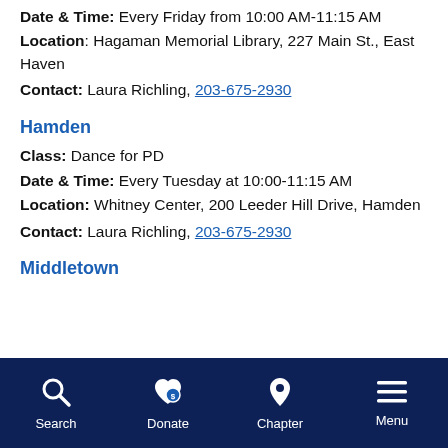Date & Time: Every Friday from 10:00 AM-11:15 AM
Location: Hagaman Memorial Library, 227 Main St., East Haven
Contact: Laura Richling, 203-675-2930
Hamden
Class: Dance for PD
Date & Time: Every Tuesday at 10:00-11:15 AM
Location: Whitney Center, 200 Leeder Hill Drive, Hamden
Contact: Laura Richling, 203-675-2930
Middletown
Search  Donate  Chapter  Menu